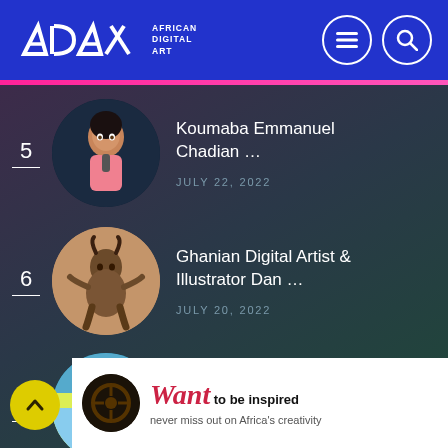ADA African Digital Art
5 — Koumaba Emmanuel Chadian … — JULY 22, 2022
6 — Ghanian Digital Artist & Illustrator Dan … — JULY 20, 2022
7 — Shadow Work Portraiture by Burkinabé …
Want to be inspired — never miss out on Africa's creativity